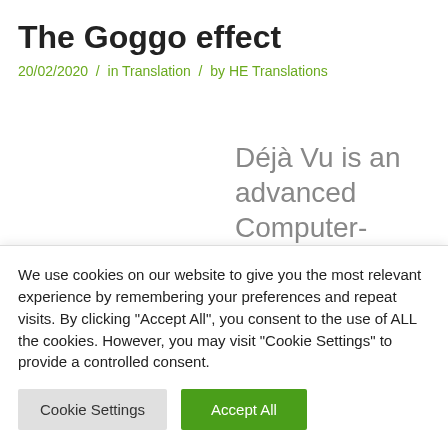The Goggo effect
20/02/2020 / in Translation / by HE Translations
Déjà Vu is an advanced Computer-Assisted Translation (CAT) program
We use cookies on our website to give you the most relevant experience by remembering your preferences and repeat visits. By clicking "Accept All", you consent to the use of ALL the cookies. However, you may visit "Cookie Settings" to provide a controlled consent.